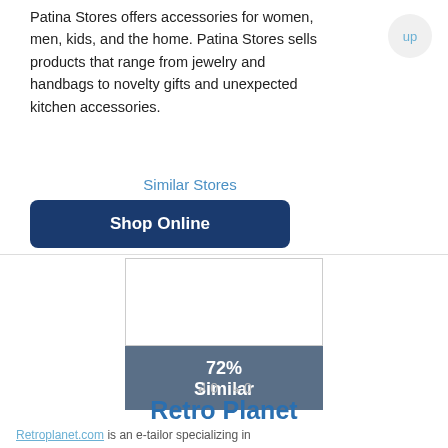Patina Stores offers accessories for women, men, kids, and the home. Patina Stores sells products that range from jewelry and handbags to novelty gifts and unexpected kitchen accessories.
Similar Stores
Shop Online
[Figure (other): Store card with 72% Similar badge and white image placeholder for Retro Planet]
Retro Planet
Retroplanet.com is an e-tailor specializing in